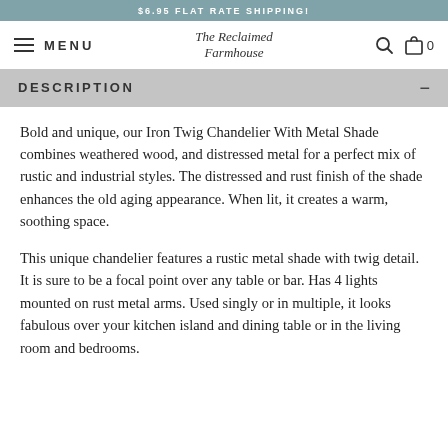$6.95 FLAT RATE SHIPPING!
MENU | The Reclaimed Farmhouse | 0
DESCRIPTION
Bold and unique, our Iron Twig Chandelier With Metal Shade combines weathered wood, and distressed metal for a perfect mix of rustic and industrial styles. The distressed and rust finish of the shade enhances the old aging appearance. When lit, it creates a warm, soothing space.
This unique chandelier features a rustic metal shade with twig detail. It is sure to be a focal point over any table or bar. Has 4 lights mounted on rust metal arms. Used singly or in multiple, it looks fabulous over your kitchen island and dining table or in the living room and bedrooms.